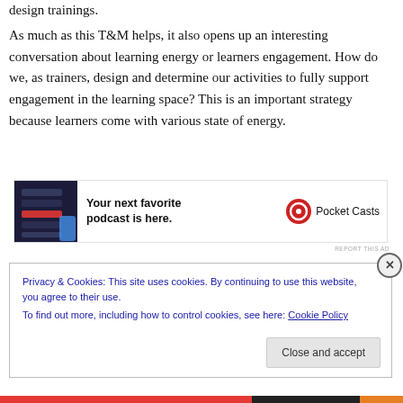design trainings.
As much as this T&M helps, it also opens up an interesting conversation about learning energy or learners engagement. How do we, as trainers, design and determine our activities to fully support engagement in the learning space? This is an important strategy because learners come with various state of energy.
[Figure (other): Advertisement banner for Pocket Casts podcast app. Shows app screenshot on left, text 'Your next favorite podcast is here.' in center, and Pocket Casts logo with name on right.]
REPORT THIS AD
Privacy & Cookies: This site uses cookies. By continuing to use this website, you agree to their use.
To find out more, including how to control cookies, see here: Cookie Policy
Close and accept